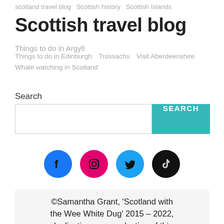scotland travel blog   Scottish history   Scottish Islands
Scottish travel blog   Things to do in Argyll
Things to do in Edinburgh   Trossachs   Visit Aberdeenshire   Whale watching in Scotland
Search
[Figure (screenshot): Search input box with teal SEARCH button]
[Figure (infographic): Social media icon buttons: Facebook (blue), Instagram (pink/magenta), Twitter (light blue), TikTok (black)]
©Samantha Grant, 'Scotland with the Wee White Dug' 2015 – 2022, duplication or reproduction of this